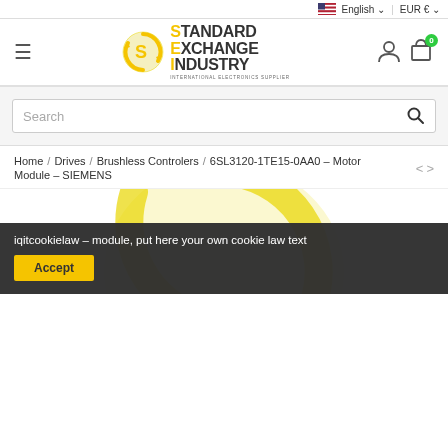English | EUR €
[Figure (logo): Standard Exchange Industry logo with globe icon and text STANDARD EXCHANGE INDUSTRY - INTERNATIONAL ELECTRONICS SUPPLIER]
Search
Home / Drives / Brushless Controlers / 6SL3120-1TE15-0AA0 - Motor Module - SIEMENS
[Figure (photo): Product image area showing partial Standard Exchange Industry logo/globe in background]
iqitcookielaw - module, put here your own cookie law text
Accept